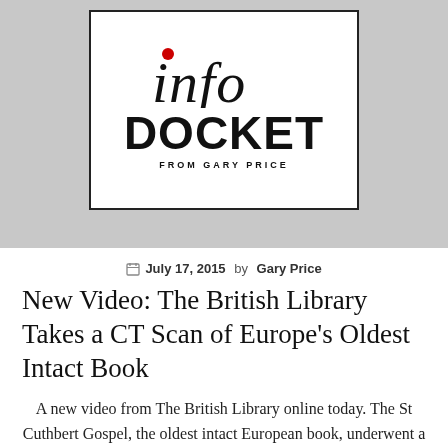[Figure (logo): Info Docket logo — stylized italic 'info' with a red dot above the 'i', bold 'DOCKET' in black, 'FROM GARY PRICE' in small caps below, all inside a rectangular border on a grey background.]
July 17, 2015 by Gary Price
New Video: The British Library Takes a CT Scan of Europe's Oldest Intact Book
A new video from The British Library online today. The St Cuthbert Gospel, the oldest intact European book, underwent a CT scan to reveal more information about its structure. This video